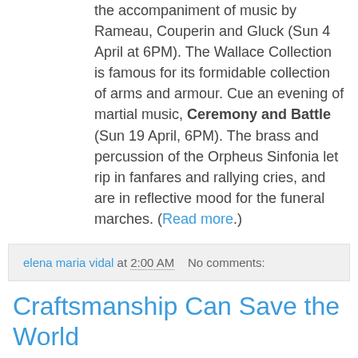the accompaniment of music by Rameau, Couperin and Gluck (Sun 4 April at 6PM). The Wallace Collection is famous for its formidable collection of arms and armour. Cue an evening of martial music, Ceremony and Battle (Sun 19 April, 6PM). The brass and percussion of the Orpheus Sinfonia let rip in fanfares and rallying cries, and are in reflective mood for the funeral marches. (Read more.)
elena maria vidal at 2:00 AM   No comments:
Craftsmanship Can Save the World
From Joseph Pearce at The Imaginative Conservative:
“Right before me, in full view and in all its perfection, was that work of beauty, no, that miracle, the Cologne Cathedral. More than its intricate ornamentation, it was its spiritual depth